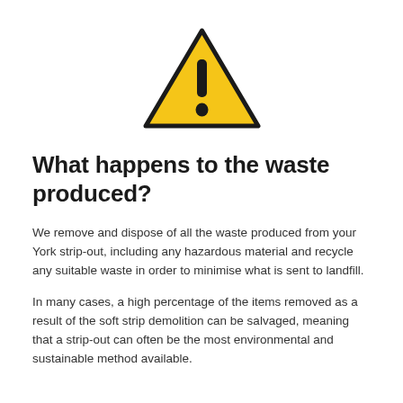[Figure (illustration): A yellow warning/caution triangle icon with a black exclamation mark inside, centered at the top of the page.]
What happens to the waste produced?
We remove and dispose of all the waste produced from your York strip-out, including any hazardous material and recycle any suitable waste in order to minimise what is sent to landfill.
In many cases, a high percentage of the items removed as a result of the soft strip demolition can be salvaged, meaning that a strip-out can often be the most environmental and sustainable method available.